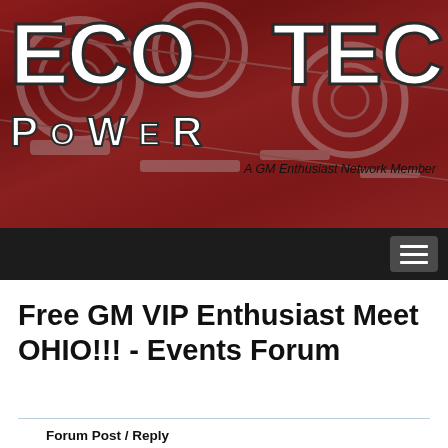[Figure (logo): EcoTec Power logo on dark red/maroon banner background with engine imagery. Large bold white text 'ECO' on left, 'TEC' on right, 'POWER' below in spaced letters. Subtitle: 'A GM Enthusiast Network Member']
A GM Enthusiast Network Member
Free GM VIP Enthusiast Meet OHIO!!! - Events Forum
Forum Post / Reply
You must log in before you can post or reply to messages.